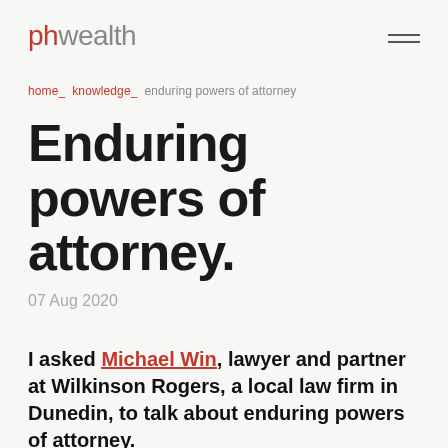phwealth
home_ knowledge_ enduring powers of attorney
Enduring powers of attorney.
07 Aug 2020
I asked Michael Win, lawyer and partner at Wilkinson Rogers, a local law firm in Dunedin, to talk about enduring powers of attorney.